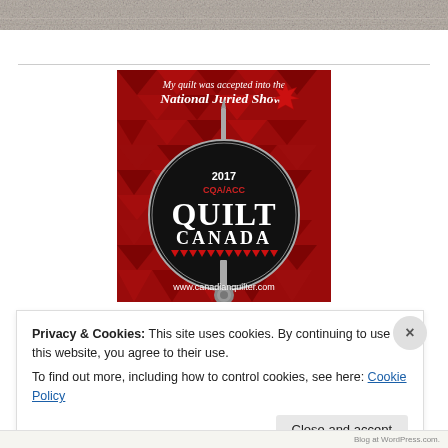[Figure (photo): Top strip: grainy textured stone/concrete image cropped at the top of the page]
[Figure (logo): 2017 CQA/ACC Quilt Canada badge with text 'My quilt was accepted into the National Juried Show!' on a red maple leaf patterned background with circular black badge logo and www.canadianquilter.com]
Privacy & Cookies: This site uses cookies. By continuing to use this website, you agree to their use.
To find out more, including how to control cookies, see here: Cookie Policy